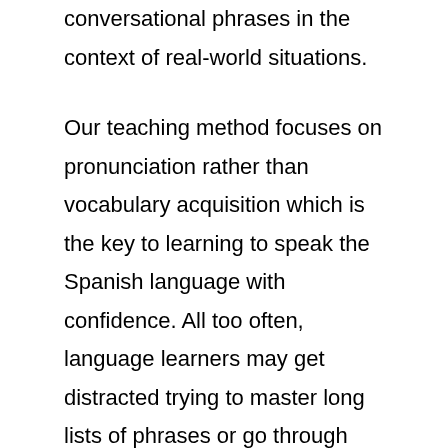conversational phrases in the context of real-world situations.
Our teaching method focuses on pronunciation rather than vocabulary acquisition which is the key to learning to speak the Spanish language with confidence. All too often, language learners may get distracted trying to master long lists of phrases or go through decks of flashcards. This frequently leaves new language learners unable to understand or be understood in actual conversations. That's why learning to pronounce and understand commonly used phrases in the Spanish language will go a long way towards helping you feel more comfortable